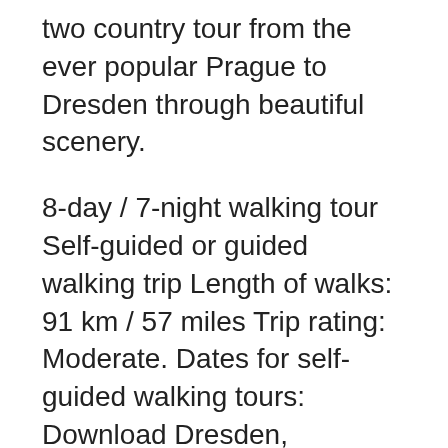two country tour from the ever popular Prague to Dresden through beautiful scenery.
8-day / 7-night walking tour Self-guided or guided walking trip Length of walks: 91 km / 57 miles Trip rating: Moderate. Dates for self-guided walking tours: Download Dresden, Germany Self-Guided Walking Tour Ebook by JetSetting Fools. The beauty of Dresden, Germany is undeniable. Opulent architecture, royal residence...
On our brand new for 2018 Exploring the Elbe - Prague to Dresden tour, enjoy exploring two amazing cities which boast cosmopolitan charm and beauty